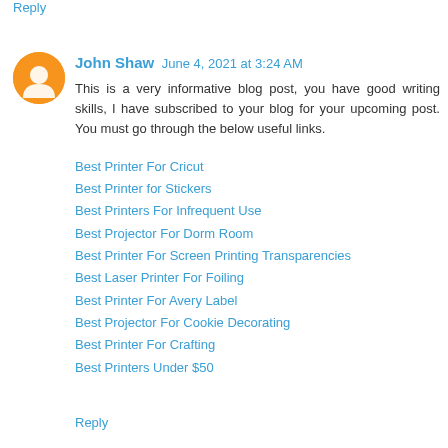Reply
John Shaw  June 4, 2021 at 3:24 AM
This is a very informative blog post, you have good writing skills, I have subscribed to your blog for your upcoming post. You must go through the below useful links.
Best Printer For Cricut
Best Printer for Stickers
Best Printers For Infrequent Use
Best Projector For Dorm Room
Best Printer For Screen Printing Transparencies
Best Laser Printer For Foiling
Best Printer For Avery Label
Best Projector For Cookie Decorating
Best Printer For Crafting
Best Printers Under $50
Reply